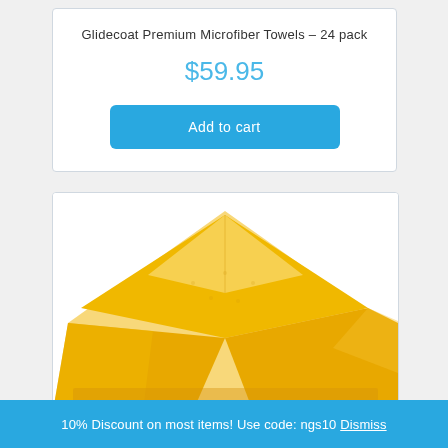Glidecoat Premium Microfiber Towels – 24 pack
$59.95
Add to cart
[Figure (photo): Yellow microfiber towels stacked and folded, showing texture and soft fabric surface]
10% Discount on most items! Use code: ngs10 Dismiss